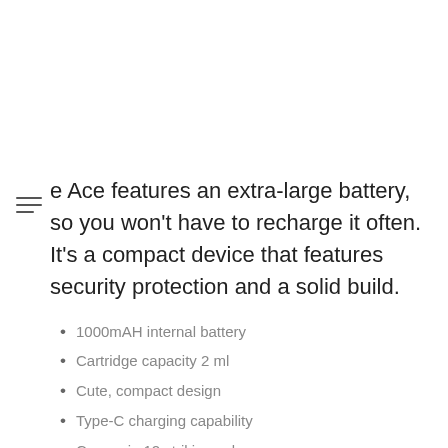e Ace features an extra-large battery, so you won't have to recharge it often. It's a compact device that features security protection and a solid build.
1000mAH internal battery
Cartridge capacity 2 ml
Cute, compact design
Type-C charging capability
Comes in 12 striking colors
Suorin Drop 2